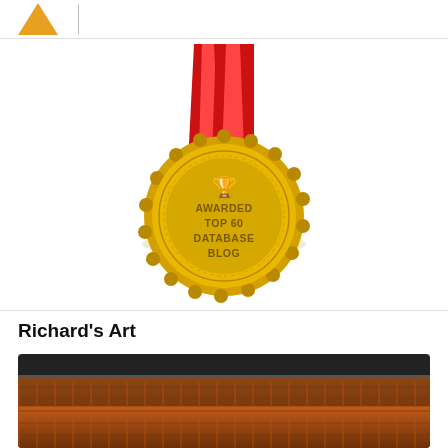[Figure (logo): Golden triangle/arrow logo icon with a vertical bar, partial view at top of page]
[Figure (illustration): Gold medal with red and white ribbon awarded 'Top 60 Database Blog' with trophy icon in center]
Richard's Art
[Figure (photo): Framed artwork or tapestry with dark frame visible at bottom of page, partial view]